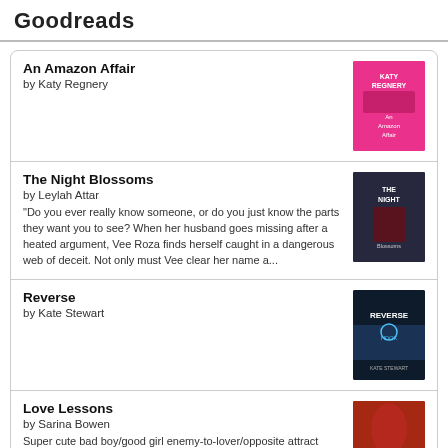Goodreads
An Amazon Affair
by Katy Regnery
The Night Blossoms
by Leylah Attar
“Do you ever really know someone, or do you just know the parts they want you to see? When her husband goes missing after a heated argument, Vee Roza finds herself caught in a dangerous web of deceit. Not only must Vee clear her name a...
Reverse
by Kate Stewart
Love Lessons
by Sarina Bowen
Super cute bad boy/good girl enemy-to-lover/opposite attract romance. Ian is a hockey star who get in a lot of trouble. His image isn’t great for himself and more importantly it is effecting his team, so the team PR demands he clean it u...
Help Me Remember